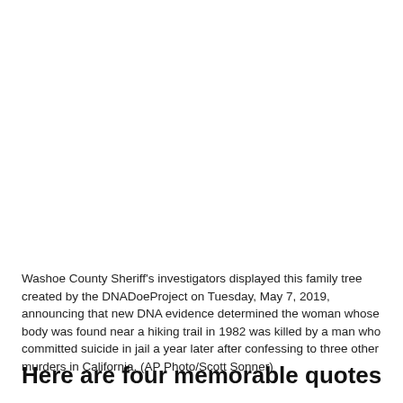Washoe County Sheriff's investigators displayed this family tree created by the DNADoeProject on Tuesday, May 7, 2019, announcing that new DNA evidence determined the woman whose body was found near a hiking trail in 1982 was killed by a man who committed suicide in jail a year later after confessing to three other murders in California. (AP Photo/Scott Sonner)
Here are four memorable quotes